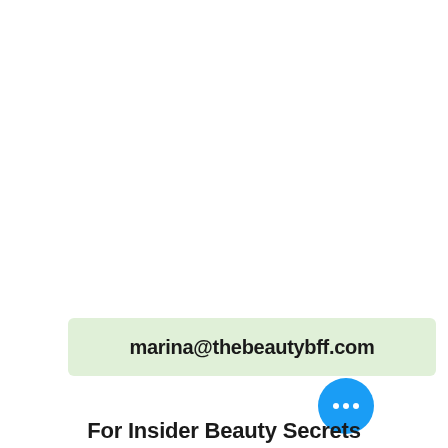marina@thebeautybff.com
For Insider Beauty Secrets